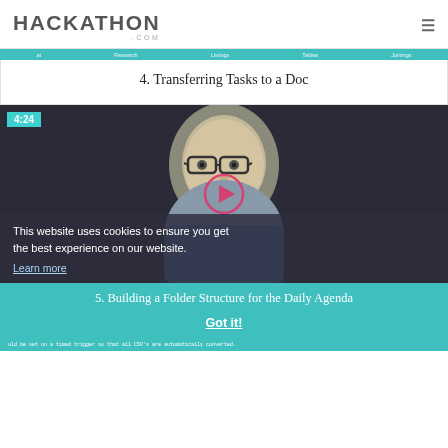HACKATHON .COM
4. Transferring Tasks to a Doc
[Figure (screenshot): Video thumbnail showing a man with glasses, timestamp 4:24, with a cookie consent banner overlay reading 'This website uses cookies to ensure you get the best experience on our website. Learn more']
5. Building a Folder Structure for the Daily Agenda
Got it!
uld be set on a timed trigger so that all CSV's are automatically converted.